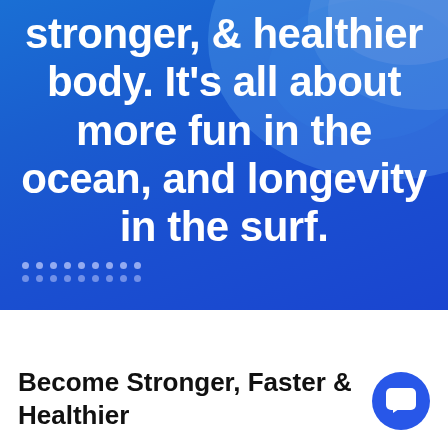[Figure (illustration): Blue ocean wave background with large bold white text overlay reading 'stronger, & healthier body. It's all about more fun in the ocean, and longevity in the surf.' with decorative dot grid at bottom left]
Become Stronger, Faster & Healthier